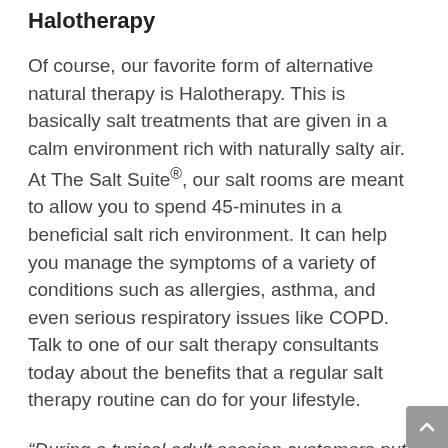Halotherapy
Of course, our favorite form of alternative natural therapy is Halotherapy. This is basically salt treatments that are given in a calm environment rich with naturally salty air. At The Salt Suite®, our salt rooms are meant to allow you to spend 45-minutes in a beneficial salt rich environment. It can help you manage the symptoms of a variety of conditions such as allergies, asthma, and even serious respiratory issues like COPD. Talk to one of our salt therapy consultants today about the benefits that a regular salt therapy routine can do for your lifestyle.
“During a typical adult session customers put their feet up in a comfortable leather chair rest or read and breathe in a dry salt aerosol